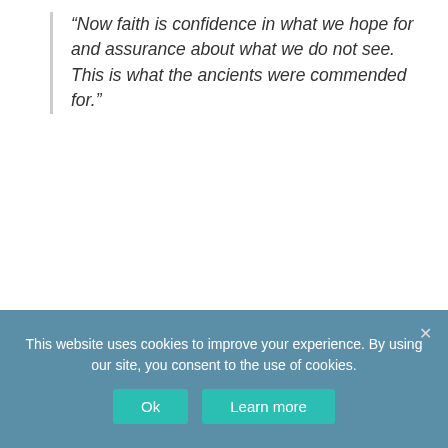“Now faith is confidence in what we hope for and assurance about what we do not see. This is what the ancients were commended for.”
He then provides examples of these ‘ancients’ through the bulk of the chapter –highlighting a number of great men and women like Abraham, Joseph, Rahab, the prophets, etc., who exhibited inspiring acts of faith through their life stories in scripture. Furthermore, he clarifies that they did this through facing a plethora of hardships. Indeed,
This website uses cookies to improve your experience. By using our site, you consent to the use of cookies.